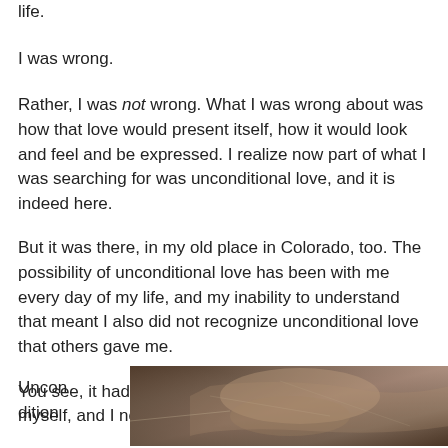life.
I was wrong.
Rather, I was not wrong. What I was wrong about was how that love would present itself, how it would look and feel and be expressed. I realize now part of what I was searching for was unconditional love, and it is indeed here.
But it was there, in my old place in Colorado, too. The possibility of unconditional love has been with me every day of my life, and my inability to understand that meant I also did not recognize unconditional love that others gave me.
You see, it had to start with my ability to extend it to myself, and I never was able to do that until recently.
Unconditional
[Figure (photo): A blurred photograph showing what appears to be an animal or person, with warm brown and grey tones, partially visible at the bottom right of the page.]